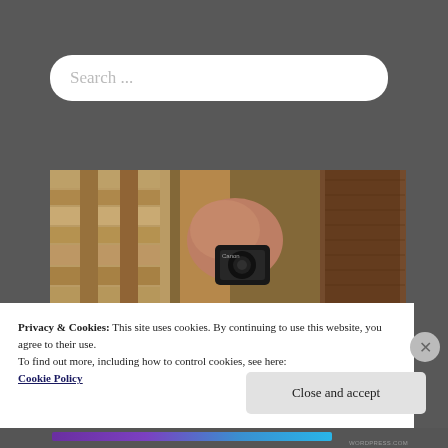Search ...
[Figure (photo): A person holding a Canon camera photographing ancient stone columns and carved stonework in a temple or archaeological site. The image shows layered sandstone columns with carved details in warm amber and beige tones.]
Privacy & Cookies: This site uses cookies. By continuing to use this website, you agree to their use.
To find out more, including how to control cookies, see here:
Cookie Policy
Close and accept